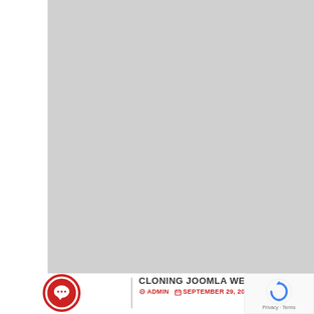[Figure (photo): Large gray placeholder image area occupying the upper portion of the page]
[Figure (logo): Red circle with white speech bubble/comment icon]
CLONING JOOMLA WEBSITES
ADMIN  SEPTEMBER 29, 2012  BLO...